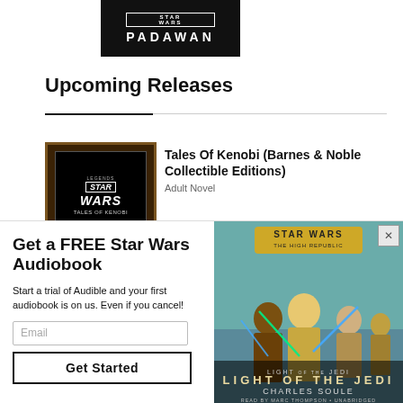[Figure (illustration): Star Wars Padawan book cover, dark background with white Star Wars logo and PADAWAN text]
Upcoming Releases
[Figure (illustration): Star Wars Tales of Kenobi book cover (Barnes & Noble Collectible Editions), dark cover with STAR WARS TALES OF KENOBI text]
Tales Of Kenobi (Barnes & Noble Collectible Editions)
Adult Novel
[Figure (illustration): Star Wars The High Republic: Light of the Jedi audiobook cover featuring Jedi characters with lightsabers, gold and teal color scheme. Text: STAR WARS THE HIGH REPUBLIC, LIGHT OF THE JEDI, CHARLES SOULE, READ BY MARC THOMPSON • UNABRIDGED]
Get a FREE Star Wars Audiobook
Start a trial of Audible and your first audiobook is on us. Even if you cancel!
Email
Get Started
[Figure (illustration): Bottom partial book thumbnail, green-tinted cover]